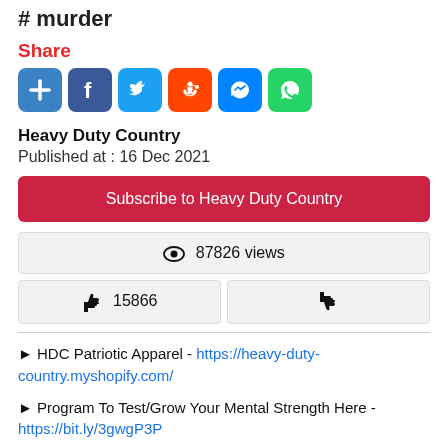# murder
Share
[Figure (infographic): Row of social share icons: add/plus (blue), Facebook (blue), Twitter (light blue), Reddit (orange), Messenger (blue), WhatsApp (green)]
Heavy Duty Country
Published at : 16 Dec 2021
Subscribe to Heavy Duty Country
👁 87826 views
👍 15866   👎
► HDC Patriotic Apparel - https://heavy-duty-country.myshopify.com/
► Program To Test/Grow Your Mental Strength Here - https://bit.ly/3gwgP3P